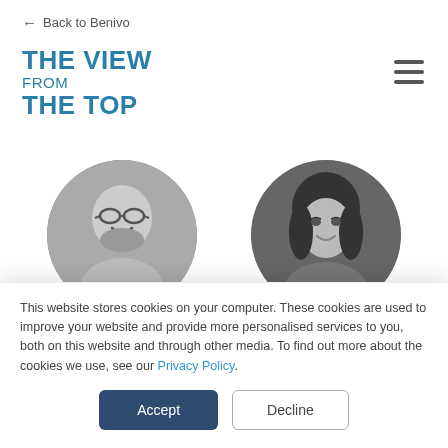← Back to Benivo
THE VIEW FROM THE TOP
[Figure (photo): Circular black and white portrait photo of Ashok Sreekumar, a man with glasses smiling]
Ashok Sreekumar
Vendor/Partner One
[Figure (photo): Circular black and white portrait photo of Uzma Stamp, a woman with dark hair smiling]
Uzma Stamp
Global Head of
This website stores cookies on your computer. These cookies are used to improve your website and provide more personalised services to you, both on this website and through other media. To find out more about the cookies we use, see our Privacy Policy.
Accept
Decline